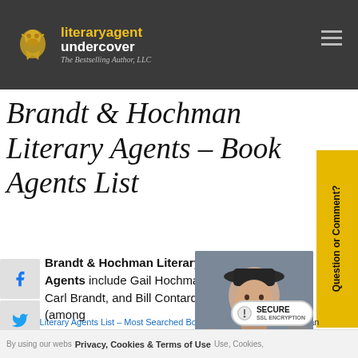literary agent undercover – The Bestselling Author, LLC
Brandt & Hochman Literary Agents – Book Agents List
Question or Comment?
Home » Literary Agents List – Most Searched Book Agents » Brandt & Hochman Literary Agents – Book Agents List
Brandt & Hochman Literary Agents include Gail Hochman, Carl Brandt, and Bill Contardi (among
[Figure (photo): Portrait photo of a woman wearing a dark hat, smiling]
Privacy, Cookies & Terms of Use